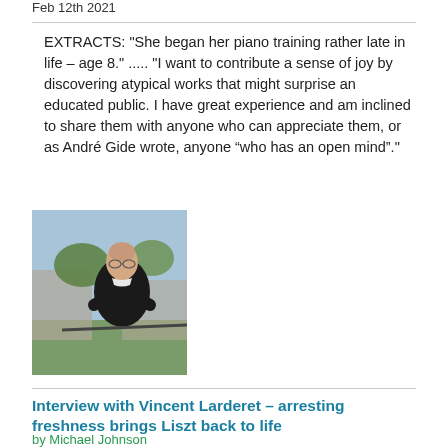Feb 12th 2021
EXTRACTS: "She began her piano training rather late in life – age 8." ..... "I want to contribute a sense of joy by discovering atypical works that might surprise an educated public. I have great experience and am inclined to share them with anyone who can appreciate them, or as André Gide wrote, anyone “who has an open mind”."
[Figure (photo): Photograph of a bald man with glasses wearing a black sweater, standing outdoors near stone ruins with trees in background]
Interview with Vincent Larderet – arresting freshness brings Liszt back to life
by Michael Johnson